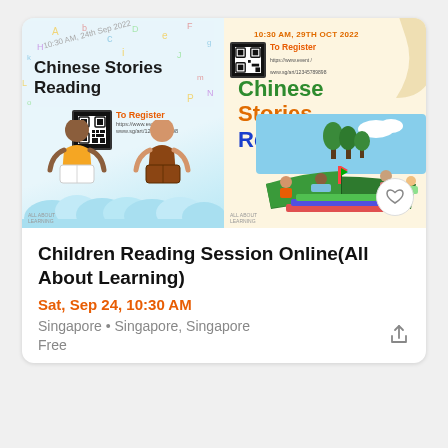[Figure (illustration): Event promotional banner for Chinese Stories Reading sessions. Left half shows two children sitting on clouds reading books with scattered colorful letters, title 'Chinese Stories Reading', QR code and 'To Register' label. Right half shows 'Chinese Stories Reading' in colored text with children playing on an open book illustration, date '10:30 AM, 29TH OCT 2022', QR code and 'To Register' label on cream background. Heart icon button at bottom right.]
Children Reading Session Online(All About Learning)
Sat, Sep 24, 10:30 AM
Singapore • Singapore, Singapore
Free